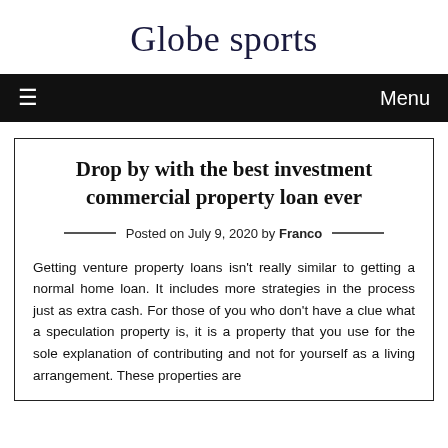Globe sports
Drop by with the best investment commercial property loan ever
Posted on July 9, 2020 by Franco
Getting venture property loans isn't really similar to getting a normal home loan. It includes more strategies in the process just as extra cash. For those of you who don't have a clue what a speculation property is, it is a property that you use for the sole explanation of contributing and not for yourself as a living arrangement. These properties are